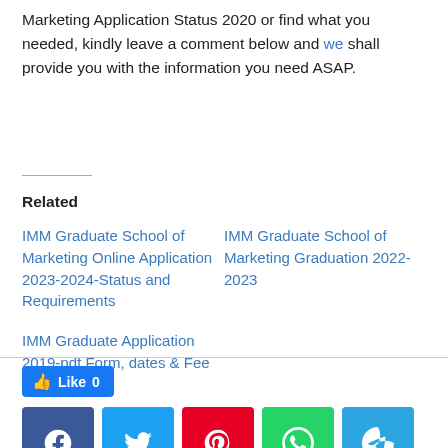Marketing Application Status 2020 or find what you needed, kindly leave a comment below and we shall provide you with the information you need ASAP.
Related
IMM Graduate School of Marketing Online Application 2023-2024-Status and Requirements
IMM Graduate School of Marketing Graduation 2022-2023
IMM Graduate Application 2019-pdf Form, dates & Fee
[Figure (other): Social sharing section with Like button (Like 0) and share icons for Facebook, Twitter, Pinterest, WhatsApp, and Telegram]